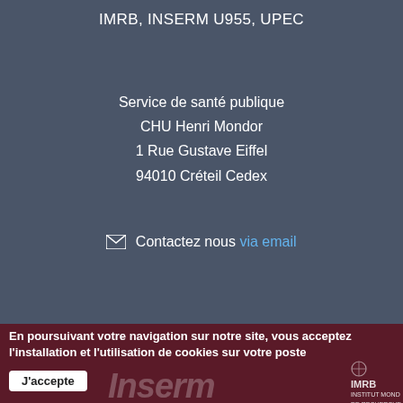IMRB, INSERM U955, UPEC
Service de santé publique
CHU Henri Mondor
1 Rue Gustave Eiffel
94010 Créteil Cedex
Contactez nous via email
En poursuivant votre navigation sur notre site, vous acceptez l'installation et l'utilisation de cookies sur votre poste
J'accepte